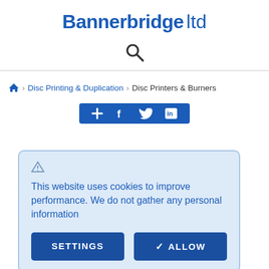Bannerbridge ltd
[Figure (screenshot): Search icon (magnifying glass)]
Home › Disc Printing & Duplication › Disc Printers & Burners
[Figure (screenshot): Social share bar with icons: plus, f (Facebook), Twitter bird, LinkedIn]
This website uses cookies to improve performance. We do not gather any personal information
SETTINGS   ✓ ALLOW
Exclusive UK Distributor